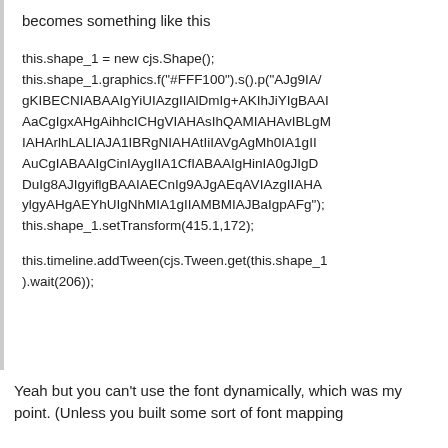becomes something like this
this.shape_1 = new cjs.Shape();
this.shape_1.graphics.f("#FFF100").s().p("AJg9IA/gKIBECNIABAAIgYiUIAzgIIAlDmIg+AKIhJiYIgBAAIAaCgIgxAHgAihhcICHgVIAHAsIhQAMIAHAvIBLgMIAHArlhLALIAJA1IBRgNIAHAtIiIAVgAgMh0IA1gIIAuCgIABAAIgCinIAygIIA1CfIABAAIgHinIA0gJIgDDuIg8AJIgyiflgBAAIAECnIg9AJgAEqAVIAzgIIAHAylgyAHgAEYhUIgNhMIA1gIIAMBMIAJBaIgpAFg");
this.shape_1.setTransform(415.1,172);

this.timeline.addTween(cjs.Tween.get(this.shape_1).wait(206));
Yeah but you can't use the font dynamically, which was my point. (Unless you built some sort of font mapping